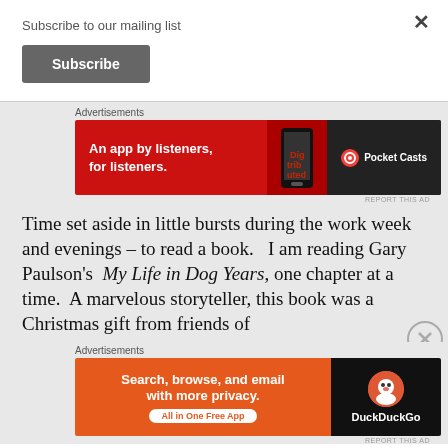Subscribe to our mailing list
Subscribe
[Figure (screenshot): Pocket Casts advertisement banner: red background, text 'An app by listeners, for listeners.' with phone image and Pocket Casts logo]
Time set aside in little bursts during the work week and evenings – to read a book.  I am reading Gary Paulson's  My Life in Dog Years, one chapter at a time.  A marvelous storyteller, this book was a Christmas gift from friends of
[Figure (screenshot): DuckDuckGo advertisement banner: orange left side with text 'Search, browse, and email with more privacy. All in One Free App', black right side with DuckDuckGo logo]